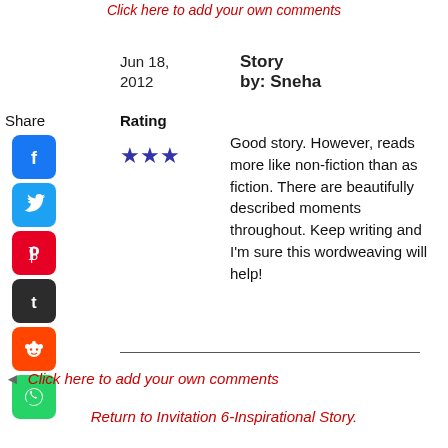Click here to add your own comments
Jun 18, 2012
Story by: Sneha
Share
Rating
[Figure (infographic): Social media sharing icons: Facebook, Twitter, Pinterest, Tumblr, Reddit, WhatsApp]
★★★
Good story. However, reads more like non-fiction than as fiction. There are beautifully described moments throughout. Keep writing and I'm sure this wordweaving will help!
Click here to add your own comments
Return to Invitation 6-Inspirational Story.